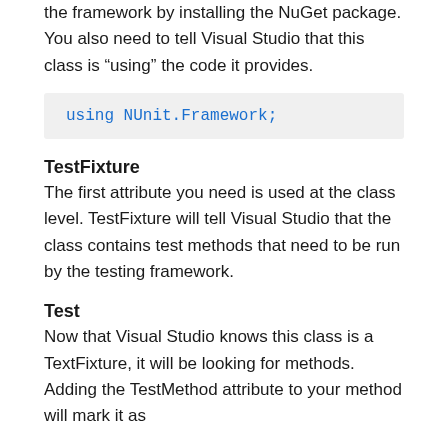the framework by installing the NuGet package. You also need to tell Visual Studio that this class is “using” the code it provides.
using NUnit.Framework;
TestFixture
The first attribute you need is used at the class level. TestFixture will tell Visual Studio that the class contains test methods that need to be run by the testing framework.
Test
Now that Visual Studio knows this class is a TextFixture, it will be looking for methods. Adding the TestMethod attribute to your method will mark it as